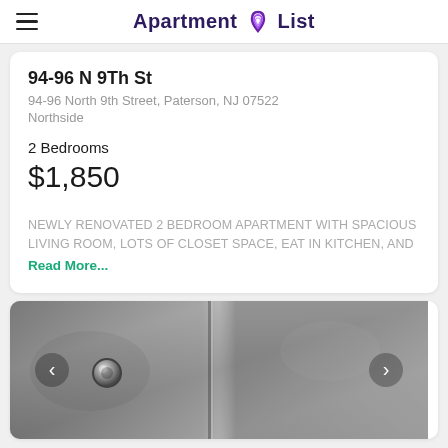Apartment List
94-96 N 9Th St
94-96 North 9th Street, Paterson, NJ 07522
Northside
2 Bedrooms
$1,850
NEWLY RENOVATED 2 BEDROOM APARTMENT WITH SPACIOUS LIVING ROOM, LOTS OF CLOSET SPACE, EAT IN KITCHEN, AND Read More...
[Figure (photo): Interior photo showing a tiled shower or bathroom area with a dark door knob/handle visible, displayed in a card with left/right navigation arrows]